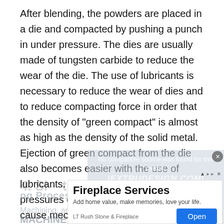After blending, the powders are placed in a die and compacted by pushing a punch in under pressure. The dies are usually made of tungsten carbide to reduce the wear of the die. The use of lubricants is necessary to reduce the wear of dies and to reduce compacting force in order that the density of "green compact" is almost as high as the density of the solid metal. Ejection of green compact from the die also becomes easier with the use of lubricants. Compacting requires high pressures of the order of 700 MPa to cause mechanical interlocking in particles. Before sintering, however, the lubricant must be driven out by a low-temperature heating cycle.
[Figure (screenshot): Partial view of a video player overlay showing 'No compatible source was found for this media.' with EXTRUDESIGN.COM watermark, overlapping with an advertisement for Fireplace Services by LT Rush Stone & Fireplace with an Open button.]